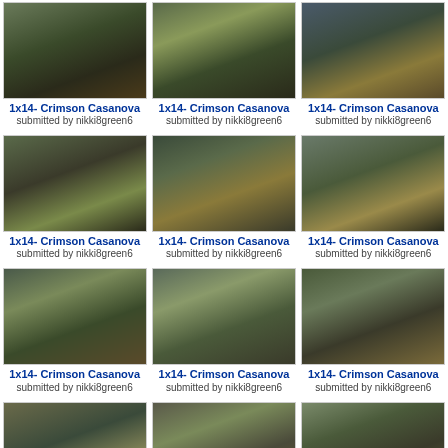[Figure (screenshot): TV show still from 1x14 Crimson Casanova - row 1, col 1]
1x14- Crimson Casanova
submitted by nikki8green6
[Figure (screenshot): TV show still from 1x14 Crimson Casanova - row 1, col 2]
1x14- Crimson Casanova
submitted by nikki8green6
[Figure (screenshot): TV show still from 1x14 Crimson Casanova - row 1, col 3]
1x14- Crimson Casanova
submitted by nikki8green6
[Figure (screenshot): TV show still from 1x14 Crimson Casanova - row 2, col 1]
1x14- Crimson Casanova
submitted by nikki8green6
[Figure (screenshot): TV show still from 1x14 Crimson Casanova - row 2, col 2]
1x14- Crimson Casanova
submitted by nikki8green6
[Figure (screenshot): TV show still from 1x14 Crimson Casanova - row 2, col 3]
1x14- Crimson Casanova
submitted by nikki8green6
[Figure (screenshot): TV show still from 1x14 Crimson Casanova - row 3, col 1]
1x14- Crimson Casanova
submitted by nikki8green6
[Figure (screenshot): TV show still from 1x14 Crimson Casanova - row 3, col 2]
1x14- Crimson Casanova
submitted by nikki8green6
[Figure (screenshot): TV show still from 1x14 Crimson Casanova - row 3, col 3]
1x14- Crimson Casanova
submitted by nikki8green6
[Figure (screenshot): TV show still from 1x14 Crimson Casanova - row 4, col 1]
1x14- Crimson Casanova
submitted by nikki8green6
[Figure (screenshot): TV show still from 1x14 Crimson Casanova - row 4, col 2]
1x14- Crimson Casanova
submitted by nikki8green6
[Figure (screenshot): TV show still from 1x14 Crimson Casanova - row 4, col 3]
1x14- Crimson Casanova
submitted by nikki8green6
[Figure (screenshot): TV show still from 1x14 Crimson Casanova - row 5, col 1]
1x14- Crimson Casanova
[Figure (screenshot): TV show still from 1x14 Crimson Casanova - row 5, col 2]
1x14- Crimson Casanova
[Figure (screenshot): TV show still from 1x14 Crimson Casanova - row 5, col 3]
1x14- Crimson Casanova